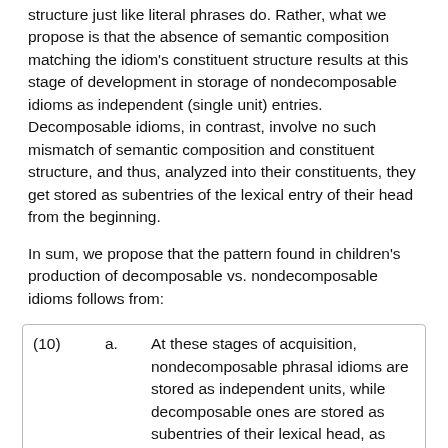structure just like literal phrases do. Rather, what we propose is that the absence of semantic composition matching the idiom's constituent structure results at this stage of development in storage of nondecomposable idioms as independent (single unit) entries. Decomposable idioms, in contrast, involve no such mismatch of semantic composition and constituent structure, and thus, analyzed into their constituents, they get stored as subentries of the lexical entry of their head from the beginning.
In sum, we propose that the pattern found in children's production of decomposable vs. nondecomposable idioms follows from:
| (10) | a. | At these stages of acquisition, nondecomposable phrasal idioms are stored as independent units, while decomposable ones are stored as subentries of their lexical head, as illustrated in Table 4. |